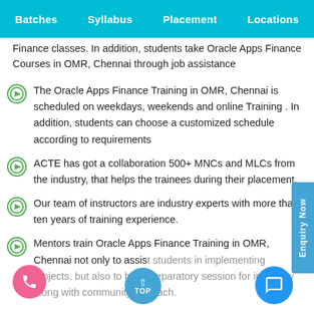Batches | Syllabus | Placement | Locations
Finance classes. In addition, students take Oracle Apps Finance Courses in OMR, Chennai through job assistance
The Oracle Apps Finance Training in OMR, Chennai is scheduled on weekdays, weekends and online Training . In addition, students can choose a customized schedule according to requirements
ACTE has got a collaboration 500+ MNCs and MLCs from the industry, that helps the trainees during their placement.
Our team of instructors are industry experts with more than ten years of training experience.
Mentors train Oracle Apps Finance Training in OMR, Chennai not only to assist students in implementing projects, but also to hold preparatory session for interview along with community outreach.